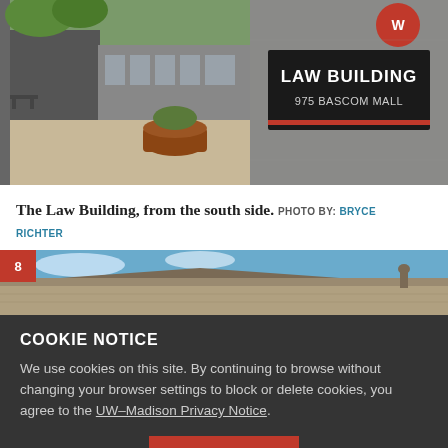[Figure (photo): Two-photo strip: left photo shows exterior plaza of the Law Building with concrete architecture, outdoor seating, and a large planter; right photo shows a dark sign reading 'LAW BUILDING 975 BASCOM MALL' mounted on a concrete wall.]
The Law Building, from the south side. PHOTO BY: BRYCE RICHTER
[Figure (photo): Partial view of a stone/brick university building roofline against a blue sky, with a red number badge '8' in the top-left corner.]
COOKIE NOTICE
We use cookies on this site. By continuing to browse without changing your browser settings to block or delete cookies, you agree to the UW–Madison Privacy Notice.
GOT IT!